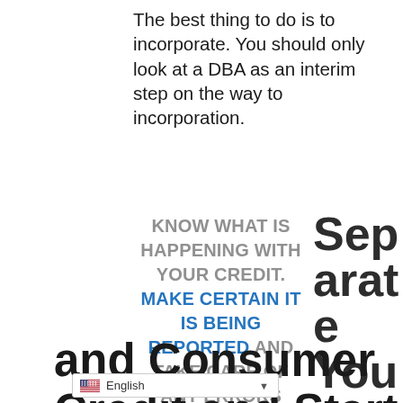The best thing to do is to incorporate. You should only look at a DBA as an interim step on the way to incorporation.
KNOW WHAT IS HAPPENING WITH YOUR CREDIT. MAKE CERTAIN IT IS BEING REPORTED AND TAKE CARE OF ANY ERRORS ASAP.
Separate Your Commercial and Consumer Credit and Start Off